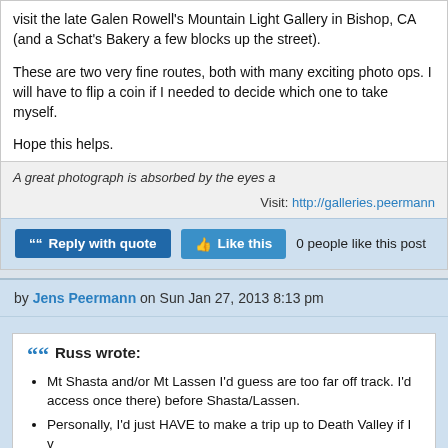visit the late Galen Rowell's Mountain Light Gallery in Bishop, CA (and a Schat's Bakery a few blocks up the street).
These are two very fine routes, both with many exciting photo ops. I will have to flip a coin if I needed to decide which one to take myself.
Hope this helps.
A great photograph is absorbed by the eyes a
Visit: http://galleries.peermann
Reply with quote   Like this   0 people like this post
by Jens Peermann on Sun Jan 27, 2013 8:13 pm
Russ wrote:
• Mt Shasta and/or Mt Lassen I'd guess are too far off track. I'd access once there) before Shasta/Lassen.
• Personally, I'd just HAVE to make a trip up to Death Valley if I v